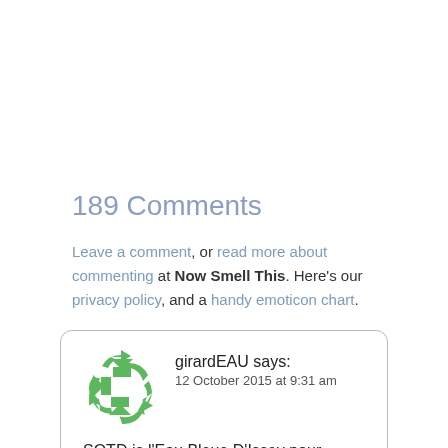189 Comments
Leave a comment, or read more about commenting at Now Smell This. Here's our privacy policy, and a handy emoticon chart.
girardEAU says:
12 October 2015 at 9:31 am
SOTD is l'Eau Bleue D'Issey pour Homme